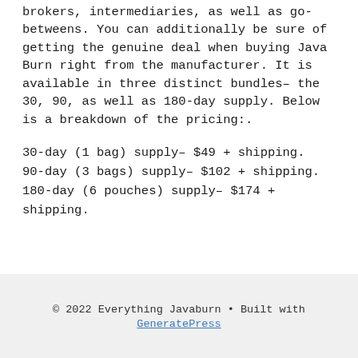brokers, intermediaries, as well as go-betweens. You can additionally be sure of getting the genuine deal when buying Java Burn right from the manufacturer. It is available in three distinct bundles– the 30, 90, as well as 180-day supply. Below is a breakdown of the pricing:.
30-day (1 bag) supply– $49 + shipping. 90-day (3 bags) supply– $102 + shipping. 180-day (6 pouches) supply– $174 + shipping.
© 2022 Everything Javaburn • Built with GeneratePress